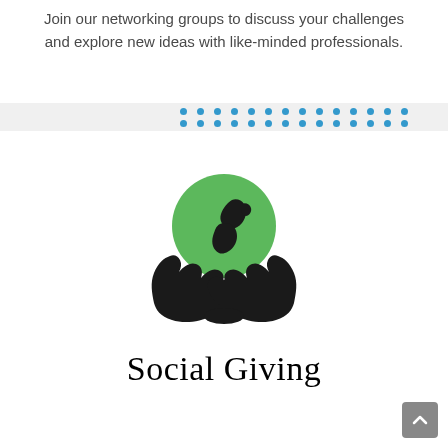Join our networking groups to discuss your challenges and explore new ideas with like-minded professionals.
[Figure (logo): Social Giving logo: two black hands cupping a green circle containing New Zealand map silhouette, with text 'Social Giving' below in serif font]